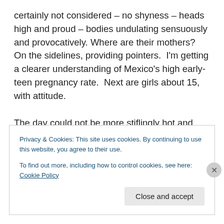certainly not considered – no shyness – heads high and proud – bodies undulating sensuously and provocatively. Where are their mothers? On the sidelines, providing pointers.  I'm getting a clearer understanding of Mexico's high early-teen pregnancy rate.  Next are girls about 15, with attitude.

The day could not be more stiflingly hot and humid, and I'm crammed among a growing mass of sweaty bodies. So I make my way back to the shade of the rum-and-coke table. As the age categories increase, I hear the crowd
Privacy & Cookies: This site uses cookies. By continuing to use this website, you agree to their use.
To find out more, including how to control cookies, see here: Cookie Policy